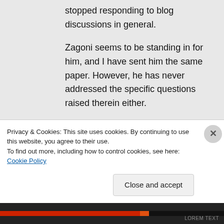stopped responding to blog discussions in general.
Zagoni seems to be standing in for him, and I have sent him the same paper. However, he has never addressed the specific questions raised therein either.
It seems to be one of a number of conceptual points of the paper to which it would seem that there
Privacy & Cookies: This site uses cookies. By continuing to use this website, you agree to their use.
To find out more, including how to control cookies, see here: Cookie Policy
Close and accept